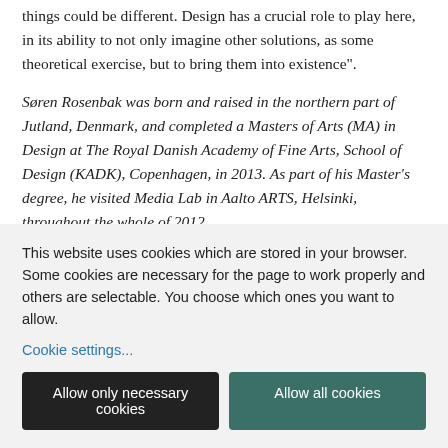things could be different. Design has a crucial role to play here, in its ability to not only imagine other solutions, as some theoretical exercise, but to bring them into existence".
Søren Rosenbak was born and raised in the northern part of Jutland, Denmark, and completed a Masters of Arts (MA) in Design at The Royal Danish Academy of Fine Arts, School of Design (KADK), Copenhagen, in 2013. As part of his Master's degree, he visited Media Lab in Aalto ARTS, Helsinki, throughout the whole of 2012.
This website uses cookies which are stored in your browser. Some cookies are necessary for the page to work properly and others are selectable. You choose which ones you want to allow.
Cookie settings...
Allow only necessary cookies
Allow all cookies